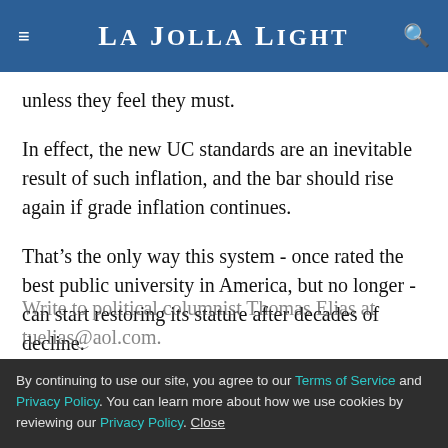La Jolla Light
unless they feel they must.
In effect, the new UC standards are an inevitable result of such inflation, and the bar should rise again if grade inflation continues.
That’s the only way this system - once rated the best public university in America, but no longer - can start restoring its stature after decades of decline.
Write to political columnist Thomas Elias at tuelias@aol.com.
By continuing to use our site, you agree to our Terms of Service and Privacy Policy. You can learn more about how we use cookies by reviewing our Privacy Policy. Close